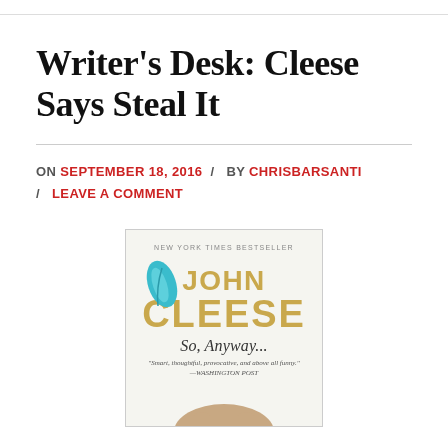Writer's Desk: Cleese Says Steal It
ON SEPTEMBER 18, 2016 / BY CHRISBARSANTI / LEAVE A COMMENT
[Figure (photo): Book cover of 'So, Anyway...' by John Cleese. New York Times Bestseller. Features a teal feather, gold text for the author name, cursive subtitle 'So, Anyway...', a quote from The Washington Post reading 'Smart, thoughtful, provocative, and above all funny.', and a partial photo of John Cleese at the bottom.]